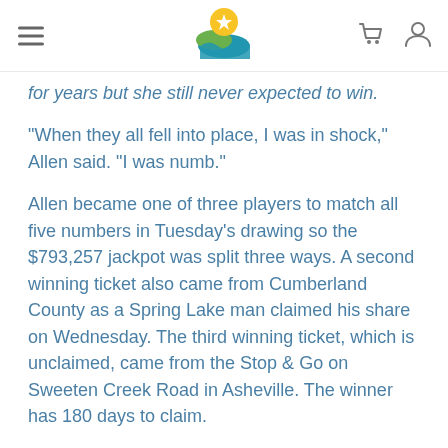[Navigation header with hamburger menu, lottery logo, cart and user icons]
for years but she still never expected to win.
“When they all fell into place, I was in shock,” Allen said. “I was numb.”
Allen became one of three players to match all five numbers in Tuesday’s drawing so the $793,257 jackpot was split three ways. A second winning ticket also came from Cumberland County as a Spring Lake man claimed his share on Wednesday. The third winning ticket, which is unclaimed, came from the Stop & Go on Sweeten Creek Road in Asheville. The winner has 180 days to claim.
Allen arrived at lottery headquarters Thursday to collect her prize and, after required state and federal tax withholdings, took home $187,764.
Cash 5 is one of four lottery games in North Carolina